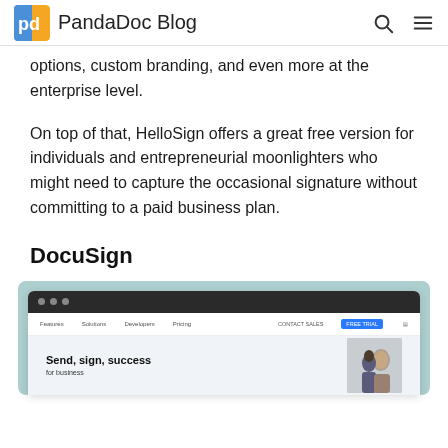PandaDoc Blog
options, custom branding, and even more at the enterprise level.
On top of that, HelloSign offers a great free version for individuals and entrepreneurial moonlighters who might need to capture the occasional signature without committing to a paid business plan.
DocuSign
[Figure (screenshot): Screenshot of the DocuSign website homepage showing a browser window with the DocuSign navigation bar and the headline 'Send, sign, success' with a photo of two people on the right side. The page has a light teal/blue background container.]